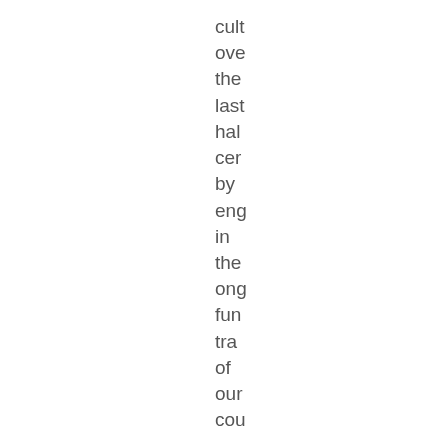cult over the last half cen by eng in the ong fun tra of our cou

I writ this in res to